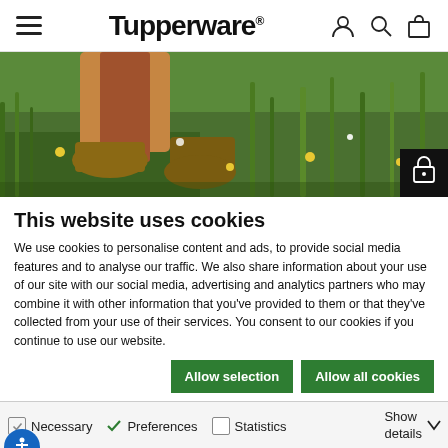Tupperware® — navigation bar with hamburger menu, logo, and icons
[Figure (photo): Hero image showing person's feet with hiking boots walking through green grass and wildflowers]
This website uses cookies
We use cookies to personalise content and ads, to provide social media features and to analyse our traffic. We also share information about your use of our site with our social media, advertising and analytics partners who may combine it with other information that you've provided to them or that they've collected from your use of their services. You consent to our cookies if you continue to use our website.
Allow selection | Allow all cookies
Necessary  Preferences  Statistics  Show details  Marketing